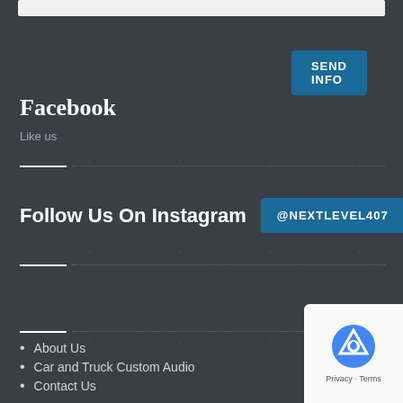SEND INFO
Facebook
Like us
Follow Us On Instagram @NEXTLEVEL407
Pages
About Us
Car and Truck Custom Audio
Contact Us